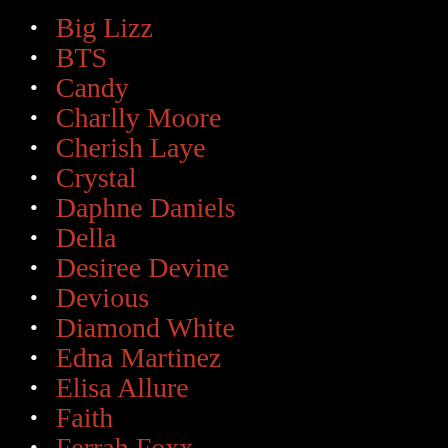Big Lizz
BTS
Candy
Charlly Moore
Cherish Laye
Crystal
Daphne Daniels
Della
Desiree Devine
Devious
Diamond White
Edna Martinez
Elisa Allure
Faith
Ferrah Foxx
Glory Foxx